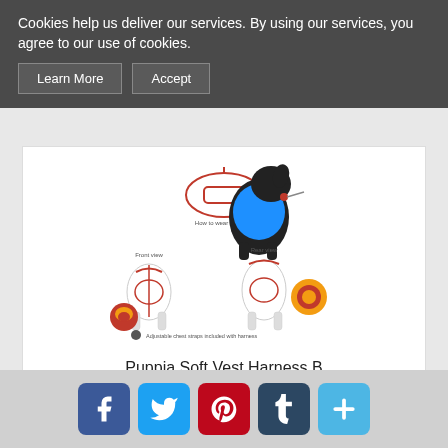Cookies help us deliver our services. By using our services, you agree to our use of cookies.
Learn More
Accept
[Figure (illustration): Dog harness product diagram showing a black and white dog wearing a blue vest harness, with anatomical diagrams showing front and rear view of harness fitting on a dog]
Puppia Soft Vest Harness B
from $21.90
View
Add to Cart
[Figure (infographic): Social media share buttons: Facebook, Twitter, Pinterest, Tumblr, and a plus/more button]